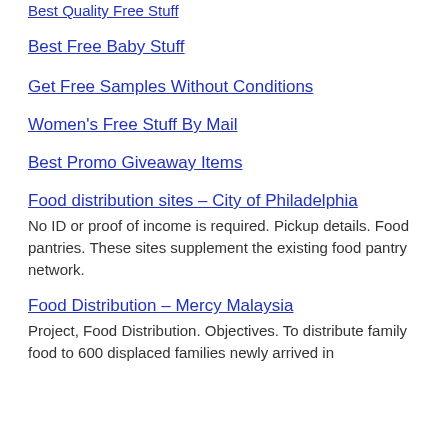Best Quality Free Stuff
Best Free Baby Stuff
Get Free Samples Without Conditions
Women's Free Stuff By Mail
Best Promo Giveaway Items
Food distribution sites – City of Philadelphia
No ID or proof of income is required. Pickup details. Food pantries. These sites supplement the existing food pantry network.
Food Distribution – Mercy Malaysia
Project, Food Distribution. Objectives. To distribute family food to 600 displaced families newly arrived in